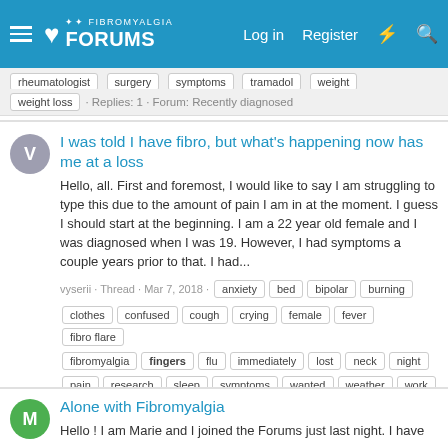FIBROMYALGIA FORUMS — Log in  Register
rheumatologist  surgery  symptoms  tramadol  weight  weight loss · Replies: 1 · Forum: Recently diagnosed
I was told I have fibro, but what's happening now has me at a loss
Hello, all. First and foremost, I would like to say I am struggling to type this due to the amount of pain I am in at the moment. I guess I should start at the beginning. I am a 22 year old female and I was diagnosed when I was 19. However, I had symptoms a couple years prior to that. I had...
vyserii · Thread · Mar 7, 2018 · anxiety  bed  bipolar  burning  clothes  confused  cough  crying  female  fever  fibro flare  fibromyalgia  fingers  flu  immediately  lost  neck  night  pain  research  sleep  symptoms  wanted  weather  work  wrists · Replies: 5 · Forum: Do I have fibromyalgia?
Alone with Fibromyalgia
Hello ! I am Marie and I joined the Forums just last night. I have